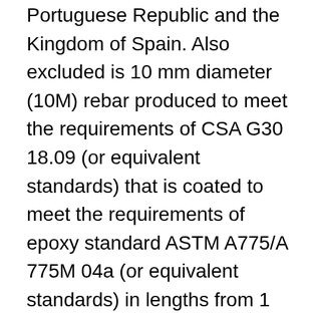Portuguese Republic and the Kingdom of Spain. Also excluded is 10 mm diameter (10M) rebar produced to meet the requirements of CSA G30 18.09 (or equivalent standards) that is coated to meet the requirements of epoxy standard ASTM A775/A 775M 04a (or equivalent standards) in lengths from 1 foot (30.48 cm) up to and including 8 feet (243.84 cm).
Pursuant to section 42 of the Special Import Measures Act (SIMA), the Tribunal has initiated an inquiry to determine whether the dumping of the above-mentioned goods has caused injury or retardation or is